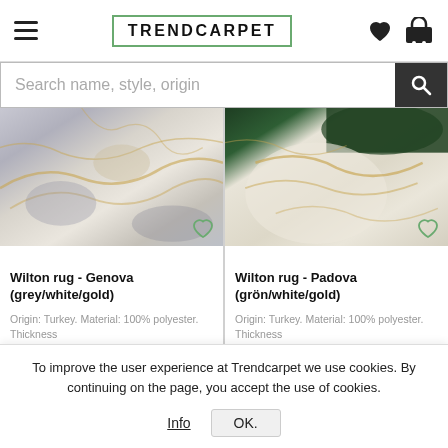TRENDCARPET
Search name, style, origin
[Figure (photo): Wilton rug Genova - grey/white/gold marble pattern rug photo]
Wilton rug - Genova (grey/white/gold)
Origin: Turkey. Material: 100% polyester. Thickness
[Figure (photo): Wilton rug Padova - grön/white/gold marble pattern rug photo with dark green accents]
Wilton rug - Padova (grön/white/gold)
Origin: Turkey. Material: 100% polyester. Thickness
To improve the user experience at Trendcarpet we use cookies. By continuing on the page, you accept the use of cookies.
Info
OK.